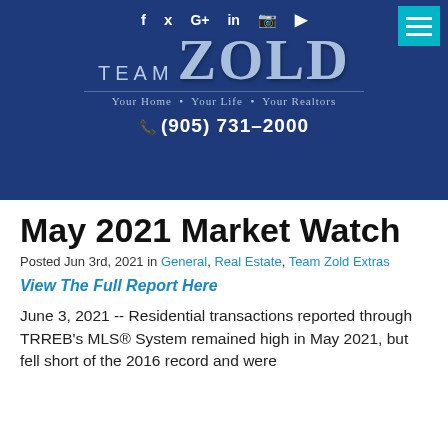Team Zold — Your Home • Your Life • Your Realtors — (905) 731-2000
May 2021 Market Watch
Posted Jun 3rd, 2021 in General, Real Estate, Team Zold Extras
View The Full Report Here
June 3, 2021 -- Residential transactions reported through TRREB's MLS® System remained high in May 2021, but fell short of the 2016 record and were